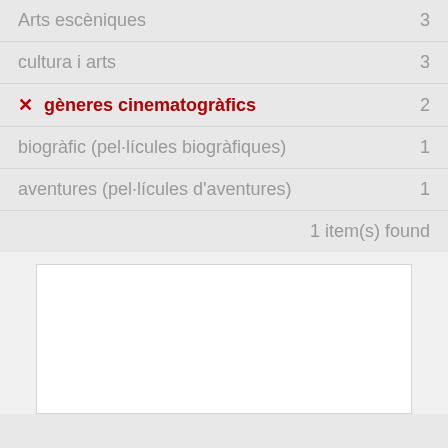Arts escèniques  3
cultura i arts  3
✗ gèneres cinematogràfics  2
biogràfic (pel·lícules biogràfiques)  1
aventures (pel·lícules d'aventures)  1
1 item(s) found
[Figure (other): White content box / result panel (empty)]